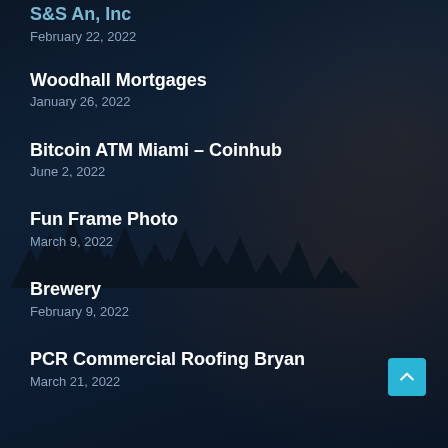S&S An, Inc
February 22, 2022
Woodhall Mortgages
January 26, 2022
Bitcoin ATM Miami – Coinhub
June 2, 2022
Fun Frame Photo
March 9, 2022
Brewery
February 9, 2022
PCR Commercial Roofing Bryan
March 21, 2022